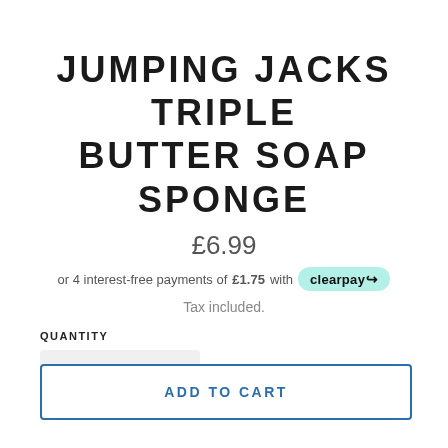JUMPING JACKS TRIPLE BUTTER SOAP SPONGE
£6.99
or 4 interest-free payments of £1.75 with Clearpay
Tax included.
QUANTITY
1
ADD TO CART